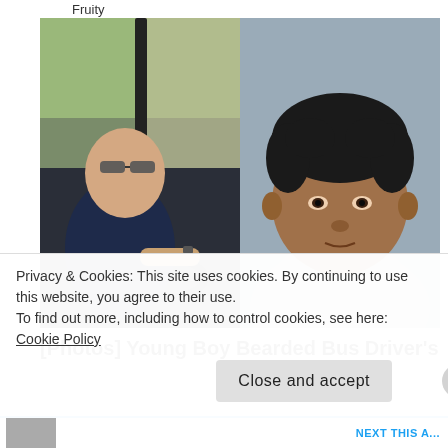Fruity
[Figure (photo): Two photos side by side: left shows a white male bus driver wearing sunglasses and a dark polo shirt seated at the wheel of a bus; right shows a mug shot of a young Black male with short curly hair wearing a gray hoodie.]
[Photos] Young Boy Bearded Bus Driver's Cut
Privacy & Cookies: This site uses cookies. By continuing to use this website, you agree to their use.
To find out more, including how to control cookies, see here: Cookie Policy
Close and accept